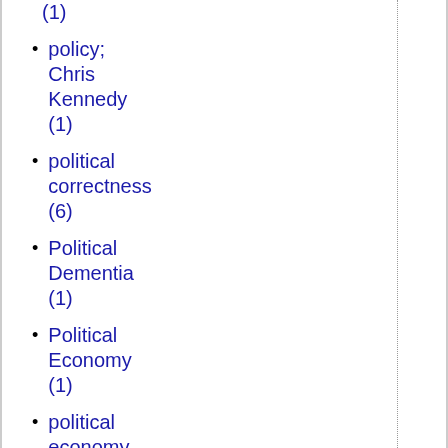(1)
policy; Chris Kennedy (1)
political correctness (6)
Political Dementia (1)
Political Economy (1)
political economy (23)
Political Exile (1)
Political History (1)
political modernism